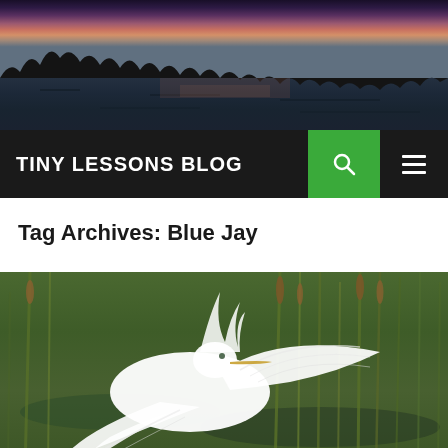[Figure (photo): Lake at dusk with dark treeline silhouette and colorful sky reflected in calm water]
TINY LESSONS BLOG
Tag Archives: Blue Jay
[Figure (photo): White bird (egret or similar) with wings spread in a marsh/wetland setting with green reeds and water]
Follow ...